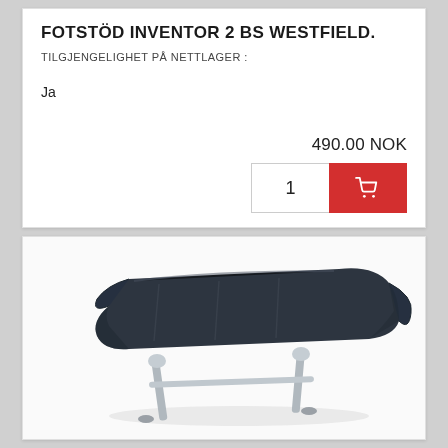FOTSTÖD INVENTOR 2 BS WESTFIELD.
TILGJENGELIGHET PÅ NETTLAGER :
Ja
490.00 NOK
[Figure (screenshot): Quantity input showing '1' and red add-to-cart button with shopping cart icon]
[Figure (photo): Product photo of a dark navy/black footrest (fotstöd) with aluminum legs, showing padded reclining surface with ergonomic shape]